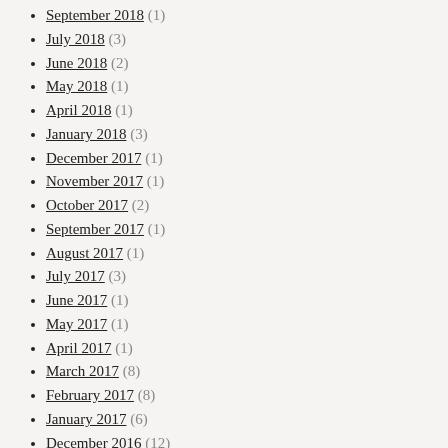September 2018 (1)
July 2018 (3)
June 2018 (2)
May 2018 (1)
April 2018 (1)
January 2018 (3)
December 2017 (1)
November 2017 (1)
October 2017 (2)
September 2017 (1)
August 2017 (1)
July 2017 (3)
June 2017 (1)
May 2017 (1)
April 2017 (1)
March 2017 (8)
February 2017 (8)
January 2017 (6)
December 2016 (12)
November 2016 (2)
October 2016 (8)
September 2016 (10)
August 2016 (1)
July 2016 (6)
June 2016 (6)